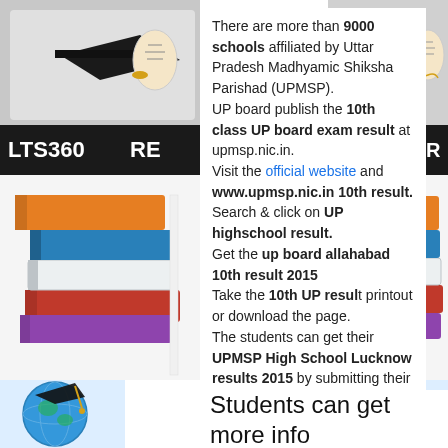[Figure (illustration): Left decorative column with graduation cap, LTS360 RE dark banner, stack of colorful books, globe with graduation cap, chalkboard images]
[Figure (illustration): Right decorative column with graduation cap and diploma, ULTS360 dark banner, stack of colorful books, globe with graduation cap]
There are more than 9000 schools affiliated by Uttar Pradesh Madhyamic Shiksha Parishad (UPMSP). UP board publish the 10th class UP board exam result at upmsp.nic.in. Visit the official website and www.upmsp.nic.in 10th result. Search & click on UP highschool result. Get the up board allahabad 10th result 2015 Take the 10th UP result printout or download the page. The students can get their UPMSP High School Lucknow results 2015 by submitting their Roll no. The Name wise feature is more helpful in finding the upmsp 10th result.
Students can get more info UP board Result: VISIT